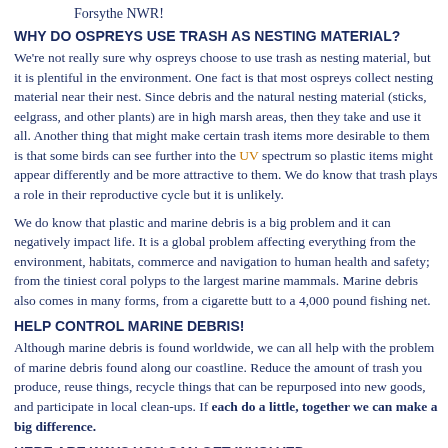Forsythe NWR!
WHY DO OSPREYS USE TRASH AS NESTING MATERIAL?
We're not really sure why ospreys choose to use trash as nesting material, but it is plentiful in the environment. One fact is that most ospreys collect nesting material near their nest. Since debris and the natural nesting material (sticks, eelgrass, and other plants) are in high marsh areas, then they take and use it all. Another thing that might make certain trash items more desirable to them is that some birds can see further into the UV spectrum so plastic items might appear differently and be more attractive to them. We do know that trash plays a role in their reproductive cycle but it is unlikely.
We do know that plastic and marine debris is a big problem and it can negatively impact life. It is a global problem affecting everything from the environment, habitats, commerce and navigation to human health and safety; from the tiniest coral polyps to the largest marine mammals. Marine debris also comes in many forms, from a cigarette butt to a 4,000 pound fishing net.
HELP CONTROL MARINE DEBRIS!
Although marine debris is found worldwide, we can all help with the problem of marine debris found along our coastline. Reduce the amount of trash you produce, reuse things, recycle things that can be repurposed into new goods, and participate in local clean-ups. If each do a little, together we can make a big difference.
HERE ARE WAYS YOU CAN GET INVOLVED:
Clean Ocean Action: Next Beach Sweep: October 19th